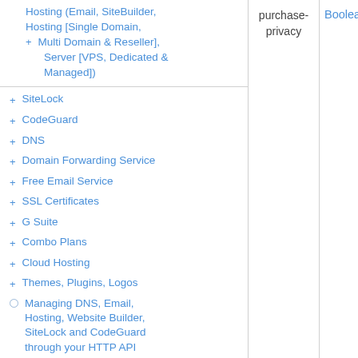Hosting (Email, SiteBuilder, Hosting [Single Domain, Multi Domain & Reseller], Server [VPS, Dedicated & Managed])
SiteLock
CodeGuard
DNS
Domain Forwarding Service
Free Email Service
SSL Certificates
G Suite
Combo Plans
Cloud Hosting
Themes, Plugins, Logos
Managing DNS, Email, Hosting, Website Builder, SiteLock and CodeGuard through your HTTP API Integration
purchase-privacy
Boolean